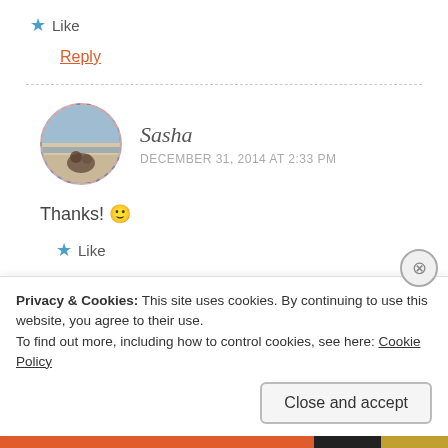★ Like
Reply
Sasha
DECEMBER 31, 2014 AT 2:33 PM
Thanks! 🙂
★ Like
Privacy & Cookies: This site uses cookies. By continuing to use this website, you agree to their use.
To find out more, including how to control cookies, see here: Cookie Policy
Close and accept